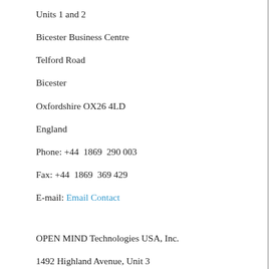Units 1 and 2
Bicester Business Centre
Telford Road
Bicester
Oxfordshire OX26 4LD
England
Phone: +44  1869  290 003
Fax: +44  1869  369 429
E-mail: Email Contact
OPEN MIND Technologies USA, Inc.
1492 Highland Avenue, Unit 3
Needham MA 02492
USA
Phone: +1  339  225  4557 office